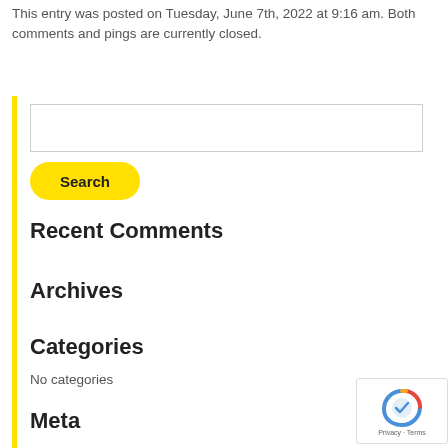This entry was posted on Tuesday, June 7th, 2022 at 9:16 am. Both comments and pings are currently closed.
[Figure (other): Search input text box]
[Figure (other): Yellow Search button]
Recent Comments
Archives
Categories
No categories
Meta
[Figure (other): Google reCAPTCHA badge with Privacy and Terms links]